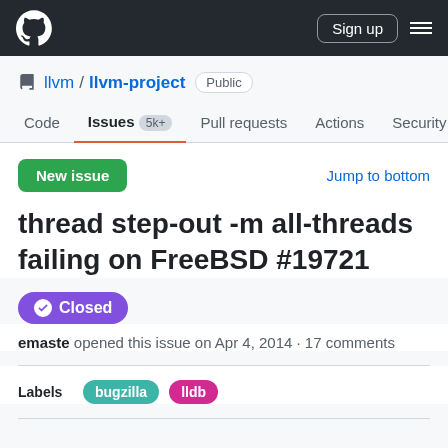GitHub header with logo, Sign up button, and hamburger menu
llvm / llvm-project  Public
Code   Issues 5k+   Pull requests   Actions   Security
New issue   Jump to bottom
thread step-out -m all-threads failing on FreeBSD #19721
Closed
emaste opened this issue on Apr 4, 2014 · 17 comments
Labels  bugzilla  lldb